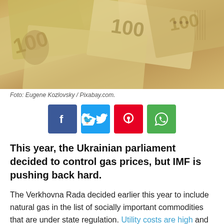[Figure (photo): Ukrainian hryvnia banknotes fanned out, showing 100 denomination bills]
Foto: Eugene Kozlovsky / Pixabay.com.
[Figure (infographic): Social media share buttons: Facebook (blue), Twitter (light blue), Pinterest (red), WhatsApp (green)]
This year, the Ukrainian parliament decided to control gas prices, but IMF is pushing back hard.
The Verkhovna Rada decided earlier this year to include natural gas in the list of socially important commodities that are under state regulation. Utility costs are high and one of the major concerns for many Ukrainian households.
Uk... intuitive to put a price cap on